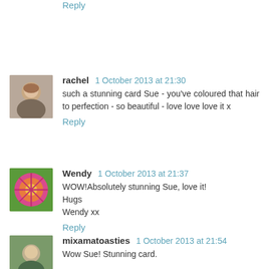Reply
rachel  1 October 2013 at 21:30
such a stunning card Sue - you've coloured that hair to perfection - so beautiful - love love love it x
Reply
Wendy  1 October 2013 at 21:37
WOW!Absolutely stunning Sue, love it!
Hugs
Wendy xx
Reply
mixamatoasties  1 October 2013 at 21:54
Wow Sue! Stunning card.
Susan xx